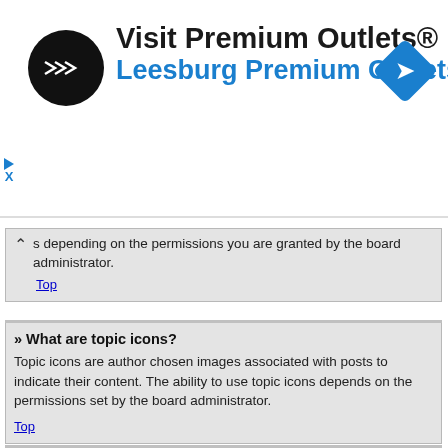[Figure (screenshot): Advertisement banner for Premium Outlets with black circle logo, turn-right sign icon, title 'Visit Premium Outlets®' and subtitle 'Leesburg Premium Outlets' in blue]
s depending on the permissions you are granted by the board administrator.
Top
» What are topic icons?
Topic icons are author chosen images associated with posts to indicate their content. The ability to use topic icons depends on the permissions set by the board administrator.
Top